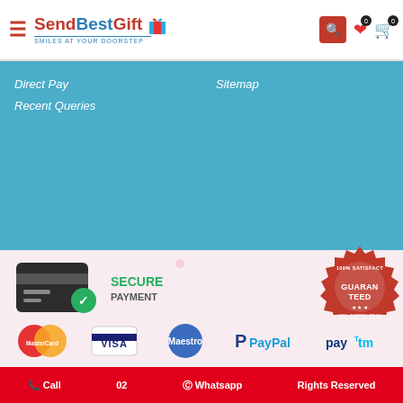[Figure (logo): SendBestGift logo with gift box icon and slogan 'Smiles At Your Doorstep']
Direct Pay
Sitemap
Recent Queries
[Figure (infographic): Secure Payment badge with credit card and green checkmark shield]
[Figure (infographic): 100% Satisfaction Guaranteed red stamp badge]
[Figure (infographic): Payment method logos: MasterCard, VISA, Maestro, PayPal, Paytm]
Call  |  02  |  Whatsapp  |  Rights Reserved